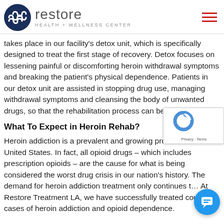Restore Health + Wellness Center
takes place in our facility's detox unit, which is specifically designed to treat the first stage of recovery. Detox focuses on lessening painful or discomforting heroin withdrawal symptoms and breaking the patient's physical dependence. Patients in our detox unit are assisted in stopping drug use, managing withdrawal symptoms and cleansing the body of unwanted drugs, so that the rehabilitation process can begin.
What To Expect in Heroin Rehab?
Heroin addiction is a prevalent and growing problem for the United States. In fact, all opioid drugs – which includes prescription opioids – are the cause for what is being considered the worst drug crisis in our nation's history. The demand for heroin addiction treatment only continues t… At Restore Treatment LA, we have successfully treated countless cases of heroin addiction and opioid dependence.